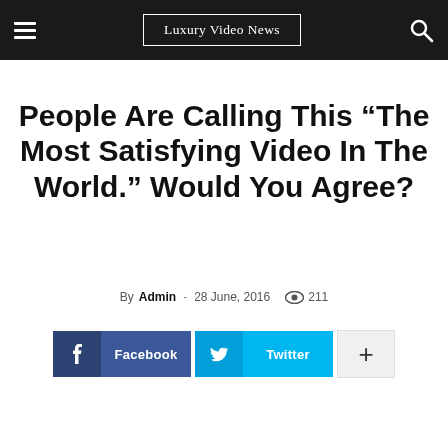Luxury Video News
People Are Calling This “The Most Satisfying Video In The World.” Would You Agree?
By Admin - 28 June, 2016  211
[Figure (other): Social share buttons: Facebook, Twitter, and a More (+) button]